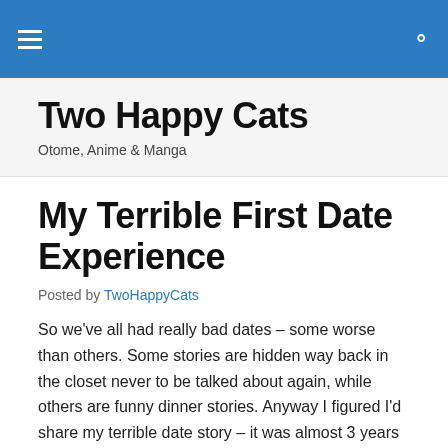Two Happy Cats — navigation bar
Two Happy Cats
Otome, Anime & Manga
My Terrible First Date Experience
Posted by TwoHappyCats
So we've all had really bad dates – some worse than others. Some stories are hidden way back in the closet never to be talked about again, while others are funny dinner stories. Anyway I figured I'd share my terrible date story – it was almost 3 years ago, so I reckon I canjust